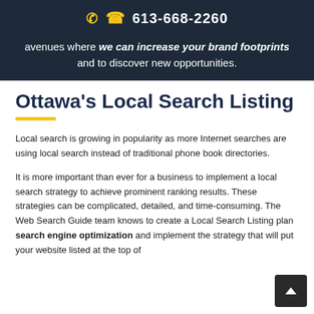613-668-2260
avenues where we can increase your brand footprints and to discover new opportunities.
Ottawa's Local Search Listing
Local search is growing in popularity as more Internet searches are using local search instead of traditional phone book directories.
It is more important than ever for a business to implement a local search strategy to achieve prominent ranking results. These strategies can be complicated, detailed, and time-consuming. The Web Search Guide team knows to create a Local Search Listing plan search engine optimization and implement the strategy that will put your website listed at the top of